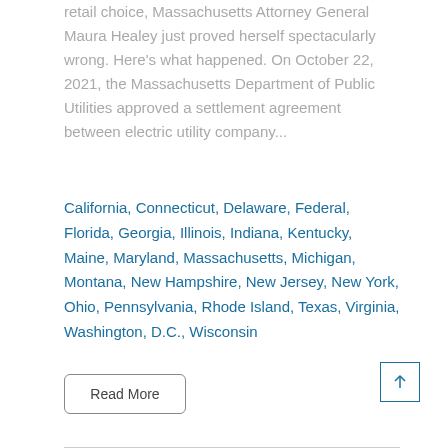retail choice, Massachusetts Attorney General Maura Healey just proved herself spectacularly wrong. Here's what happened. On October 22, 2021, the Massachusetts Department of Public Utilities approved a settlement agreement between electric utility company...
California, Connecticut, Delaware, Federal, Florida, Georgia, Illinois, Indiana, Kentucky, Maine, Maryland, Massachusetts, Michigan, Montana, New Hampshire, New Jersey, New York, Ohio, Pennsylvania, Rhode Island, Texas, Virginia, Washington, D.C., Wisconsin
Read More